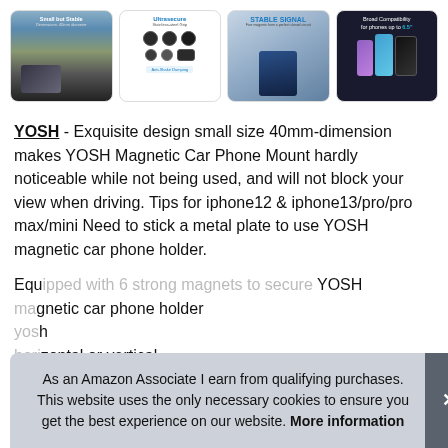[Figure (photo): Four product images showing YOSH magnetic car phone mount: (1) mountain/car interior scene, (2) Ultrasecure stainless steel grip components, (3) Stable Signal magnetic mount in car vent, (4) Broad Compatibility for phones up to 6.5 inches with multiple phones shown]
YOSH - Exquisite design small size 40mm-dimension makes YOSH Magnetic Car Phone Mount hardly noticeable while not being used, and will not block your view when driving. Tips for iphone12 & iphone13/pro/pro max/mini Need to stick a metal plate to use YOSH magnetic car phone holder.
Equipped with 6 strong magnets to secure YOSH magnetic car phone holder horizontal or vertical, compatible with iPhone, Samsung, LG, Moto, HTC,...
As an Amazon Associate I earn from qualifying purchases. This website uses the only necessary cookies to ensure you get the best experience on our website. More information